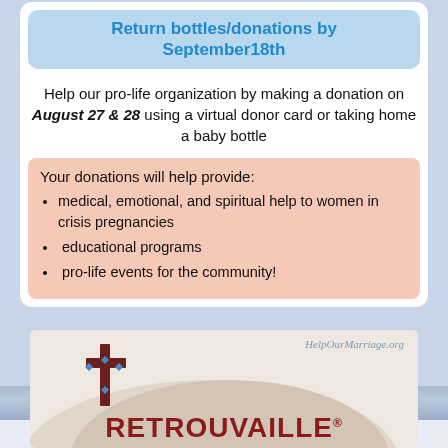Return bottles/donations by September18th
Help our pro-life organization by making a donation on August 27 & 28 using a virtual donor card or taking home a baby bottle
Your donations will help provide:
medical, emotional, and spiritual help to women in crisis pregnancies
educational programs
pro-life events for the community!
[Figure (logo): Retrouvaille logo with cross icon and HelpOurMarriage.org website text]
HelpOurMarriage.org
RETROUVAILLE